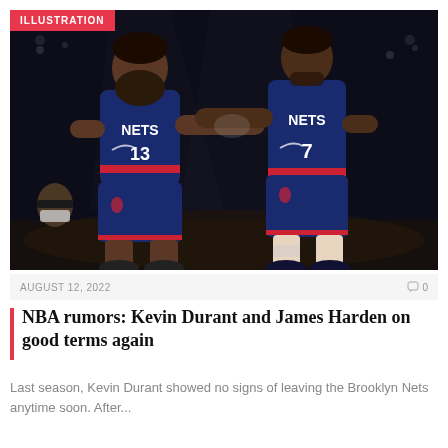[Figure (photo): Two Brooklyn Nets basketball players in navy blue uniforms — James Harden wearing #13 and Kevin Durant wearing #7 — reaching toward each other in a high-five or handshake gesture on the court against a dark background.]
AUGUST 12, 2022
0
NBA rumors: Kevin Durant and James Harden on good terms again
Last season, Kevin Durant showed no signs of leaving the Brooklyn Nets anytime soon. After...